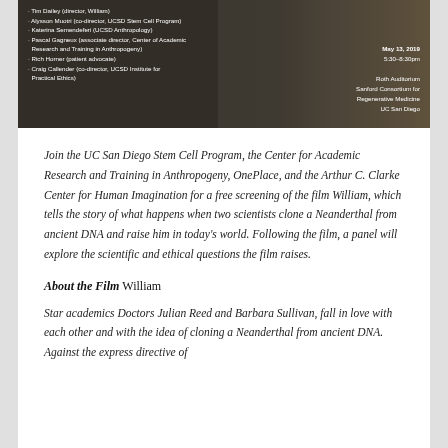[Figure (photo): Event poster image for film 'William' screening at UC San Diego. Dark background with text listing panelists on the left and event date/location on the right. Date: May 13, 2019, 5:30-8:30pm, Roth Auditorium, Sanford Consortium for Regenerative Medicine, UC San Diego.]
Join the UC San Diego Stem Cell Program, the Center for Academic Research and Training in Anthropogeny, OnePlace, and the Arthur C. Clarke Center for Human Imagination for a free screening of the film William, which tells the story of what happens when two scientists clone a Neanderthal from ancient DNA and raise him in today's world. Following the film, a panel will explore the scientific and ethical questions the film raises.
About the Film William
Star academics Doctors Julian Reed and Barbara Sullivan, fall in love with each other and with the idea of cloning a Neanderthal from ancient DNA. Against the express directive of